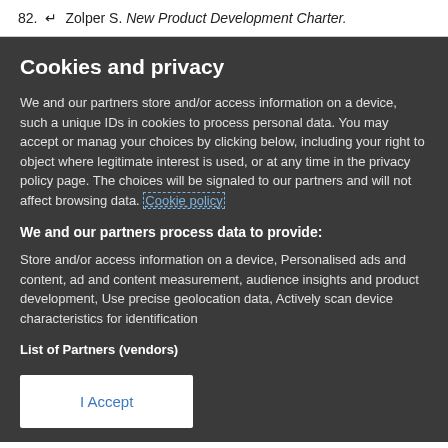82. ↵ Zolper S. New Product Development Charter.
Cookies and privacy
We and our partners store and/or access information on a device, such as unique IDs in cookies to process personal data. You may accept or manage your choices by clicking below, including your right to object where legitimate interest is used, or at any time in the privacy policy page. These choices will be signaled to our partners and will not affect browsing data. Cookie policy
We and our partners process data to provide:
Store and/or access information on a device, Personalised ads and content, ad and content measurement, audience insights and product development, Use precise geolocation data, Actively scan device characteristics for identification
List of Partners (vendors)
I Accept